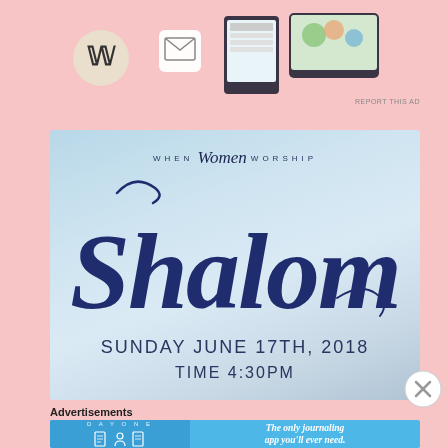[Figure (illustration): Top banner advertisement area with WordPress logo, email/inbox icon, and tablet/menu mockup images on a pink background]
[Figure (illustration): Event flyer for 'When Women Worship - Shalom' on Sunday June 17th, 2018, Time 4:30PM. Light blue gradient background with large cursive 'Shalom' script in navy blue.]
Advertisements
[Figure (illustration): Day One journaling app advertisement: 'The only journaling app you'll ever need.' on a blue background with cartoon icons.]